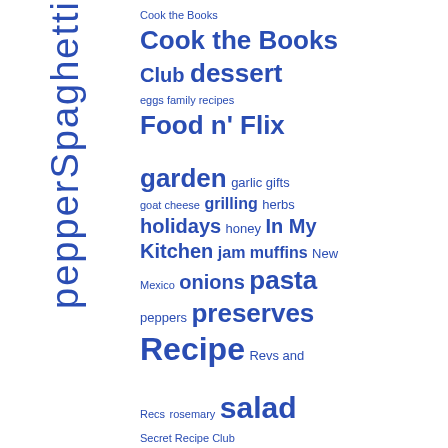pepperSpaghetti (vertical tag)
Cook the Books Cook the Books Club dessert eggs family recipes Food n' Flix garden garlic gifts goat cheese grilling herbs holidays honey In My Kitchen jam muffins New Mexico onions pasta peppers preserves Recipe Revs and Recs rosemary salad Secret Recipe Club soup TLC Book Tour tomatoes wine